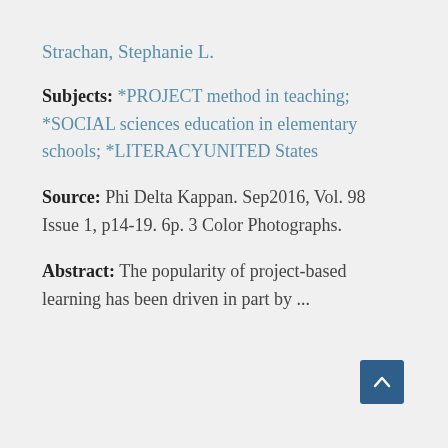Strachan, Stephanie L.
Subjects: *PROJECT method in teaching; *SOCIAL sciences education in elementary schools; *LITERACYUNITED States
Source: Phi Delta Kappan. Sep2016, Vol. 98 Issue 1, p14-19. 6p. 3 Color Photographs.
Abstract: The popularity of project-based learning has been driven in part by ...